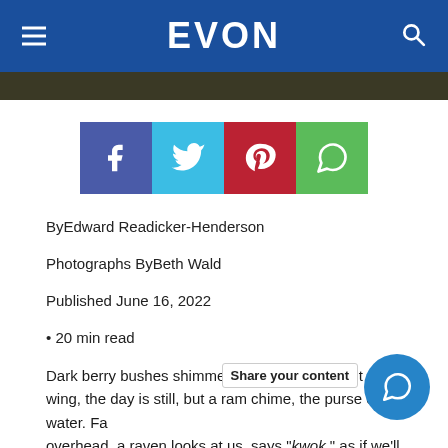EVON
[Figure (infographic): Social share buttons: Facebook (dark blue), Twitter (light blue), Pinterest (red), WhatsApp (green)]
ByEdward Readicker-Henderson
Photographs ByBeth Wald
Published June 16, 2022
• 20 min read
Dark berry bushes shimmer. Leaves rustle—not a wing, the day is still, but a ram chime, the purse of water. Far overhead, a raven looks at us, says "kwok," as if we'll know what he's saying. Then, like a magician's very best trick, the